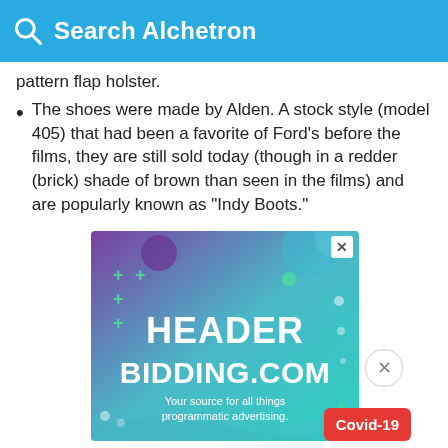Search Alchetron
pattern flap holster.
The shoes were made by Alden. A stock style (model 405) that had been a favorite of Ford's before the films, they are still sold today (though in a redder (brick) shade of brown than seen in the films) and are popularly known as "Indy Boots."
[Figure (infographic): Advertisement banner for headerbidding.com with purple-to-teal gradient background, decorative plus signs and circles, text 'HEADER BIDDING.COM' in large white bold letters, subtitle 'Your source for all things programmatic advertising.' A close X button in top right, a circle close button to the right, and a red Covid-19 badge in the bottom right corner.]